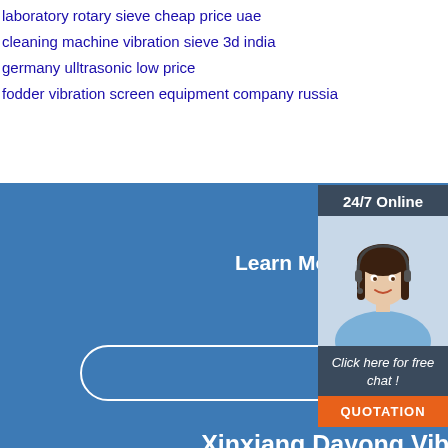laboratory rotary sieve cheap price uae
cleaning machine vibration sieve 3d india
germany ulltrasonic low price
fodder vibration screen equipment company russia
Learn More Information About Products
Know More
24/7 Online
[Figure (photo): Customer service representative woman with headset smiling]
Click here for free chat !
QUOTATION
Xinxiang Dayong Vibrating Equipment Co., Ltd.
Address:Room 1601, Xinghai Center, the Intersection of Xinzhong Avenue and Renmin East Road, Hongqi District,
Xinxiang City, Henan
Mobile:+86 15517160690